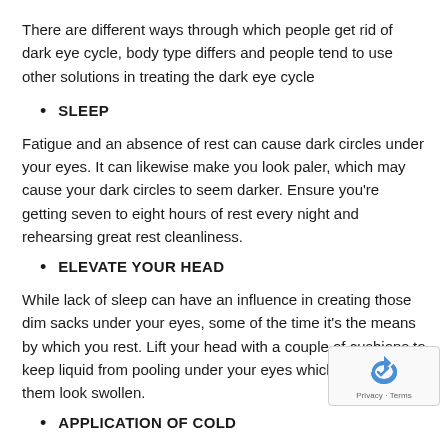There are different ways through which people get rid of dark eye cycle, body type differs and people tend to use other solutions in treating the dark eye cycle
SLEEP
Fatigue and an absence of rest can cause dark circles under your eyes. It can likewise make you look paler, which may cause your dark circles to seem darker. Ensure you're getting seven to eight hours of rest every night and rehearsing great rest cleanliness.
ELEVATE YOUR HEAD
While lack of sleep can have an influence in creating those dim sacks under your eyes, some of the time it's the means by which you rest. Lift your head with a couple of cushions to keep liquid from pooling under your eyes which can make them look swollen.
APPLICATION OF COLD